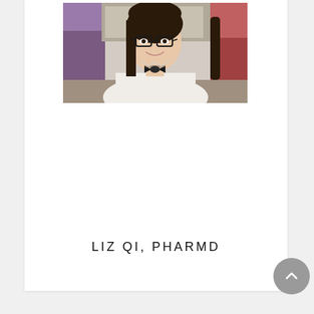[Figure (photo): Headshot photo of a young woman with long dark hair, wearing glasses and a white blouse with a black bow/tie accessory, smiling. Background shows blurred seating area with purple and red chairs.]
LIZ QI, PHARMD